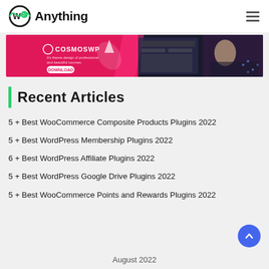WPAnything
[Figure (screenshot): CosmoWP promotional banner with dark pink/magenta background showing WordPress theme screenshots]
Recent Articles
5 + Best WooCommerce Composite Products Plugins 2022
5 + Best WordPress Membership Plugins 2022
6 + Best WordPress Affiliate Plugins 2022
5 + Best WordPress Google Drive Plugins 2022
5 + Best WooCommerce Points and Rewards Plugins 2022
August 2022